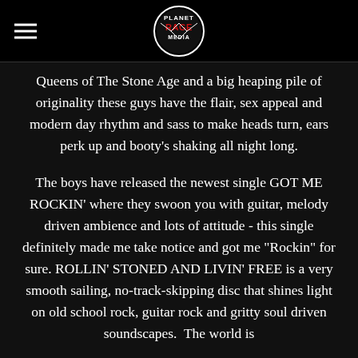Planet Rage Media logo with hamburger menu
Queens of The Stone Age and a big heaping pile of originality these guys have the flair, sex appeal and modern day rhythm and sass to make heads turn, ears perk up and booty’s shaking all night long.
The boys have released the newest single GOT ME ROCKIN’ where they swoon you with guitar, melody driven ambience and lots of attitude - this single definitely made me take notice and got me “Rockin” for sure. ROLLIN’ STONED AND LIVIN’ FREE is a very smooth sailing, no-track-skipping disc that shines light on old school rock, guitar rock and gritty soul driven soundscapes.  The world is